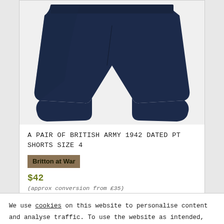[Figure (photo): Navy blue British Army PT shorts laid flat on a white background, viewed from above.]
A PAIR OF BRITISH ARMY 1942 DATED PT SHORTS SIZE 4
[Figure (logo): Britton at War seller badge — bold black text on brown/tan background]
$42
(approx conversion from £35)
We use cookies on this website to personalise content and analyse traffic. To use the website as intended,